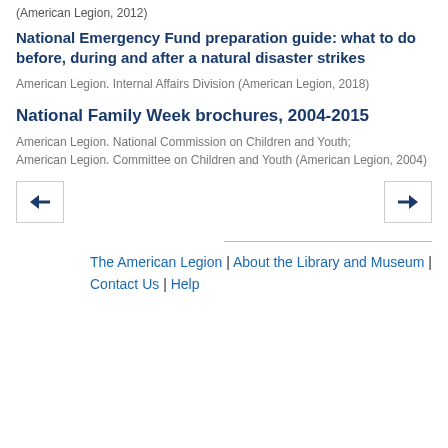(American Legion, 2012)
National Emergency Fund preparation guide: what to do before, during and after a natural disaster strikes
American Legion. Internal Affairs Division (American Legion, 2018)
National Family Week brochures, 2004-2015
American Legion. National Commission on Children and Youth; American Legion. Committee on Children and Youth (American Legion, 2004)
The American Legion | About the Library and Museum | Contact Us | Help